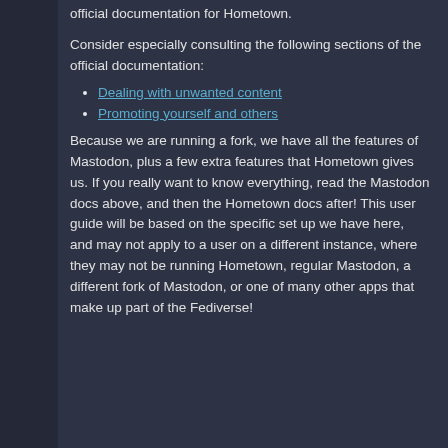official documentation for Hometown.
Consider especially consulting the following sections of the official documentation:
Dealing with unwanted content
Promoting yourself and others
Because we are running a fork, we have all the features of Mastodon, plus a few extra features that Hometown gives us. If you really want to know everything, read the Mastodon docs above, and then the Hometown docs after! This user guide will be based on the specific set up we have here, and may not apply to a user on a different instance, where they may not be running Hometown, regular Mastodon, a different fork of Mastodon, or one of many other apps that make up part of the Fediverse!